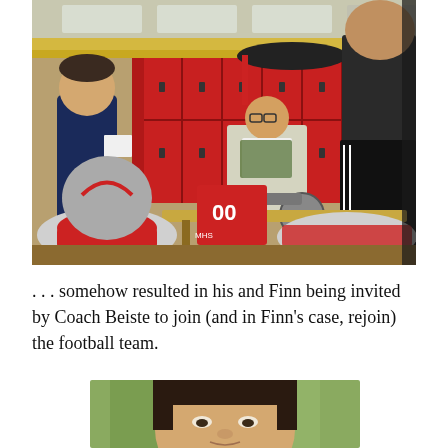[Figure (photo): A locker room scene with red lockers in the background. A person in dark clothing stands on the left holding papers, a student in a wheelchair sits in the center, and a tall person in a dark t-shirt and athletic pants stands on the right. Football equipment including jerseys and shoulder pads are visible in the foreground.]
. . . somehow resulted in his and Finn being invited by Coach Beiste to join (and in Finn’s case, rejoin) the football team.
[Figure (photo): Close-up photo of a young person with dark hair, slightly out of focus, with a blurred green background.]